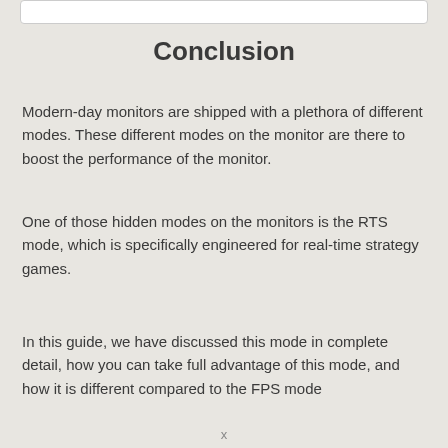Conclusion
Modern-day monitors are shipped with a plethora of different modes. These different modes on the monitor are there to boost the performance of the monitor.
One of those hidden modes on the monitors is the RTS mode, which is specifically engineered for real-time strategy games.
In this guide, we have discussed this mode in complete detail, how you can take full advantage of this mode, and how it is different compared to the FPS mode...